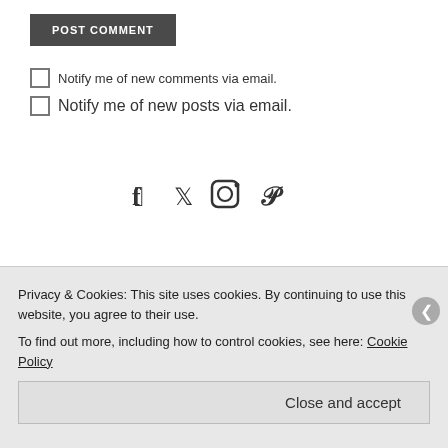POST COMMENT
Notify me of new comments via email.
Notify me of new posts via email.
[Figure (illustration): Social media icons: Facebook, Twitter, Instagram, Pinterest]
[Figure (illustration): Follow Kimberly Williams button with WordPress logo]
FOLLOW
Privacy & Cookies: This site uses cookies. By continuing to use this website, you agree to their use. To find out more, including how to control cookies, see here: Cookie Policy
Close and accept